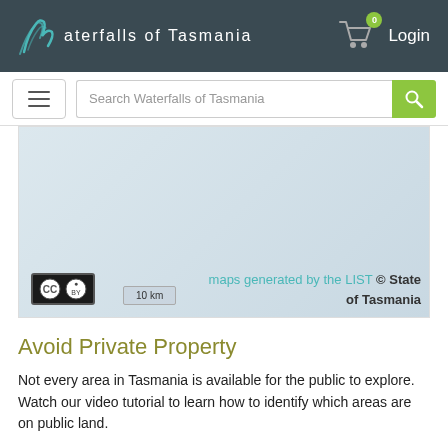Waterfalls of Tasmania — Login
[Figure (screenshot): Map area showing Creative Commons BY license badge and scale bar of 10 km, with copyright text 'maps generated by the LIST © State of Tasmania']
Avoid Private Property
Not every area in Tasmania is available for the public to explore. Watch our video tutorial to learn how to identify which areas are on public land.